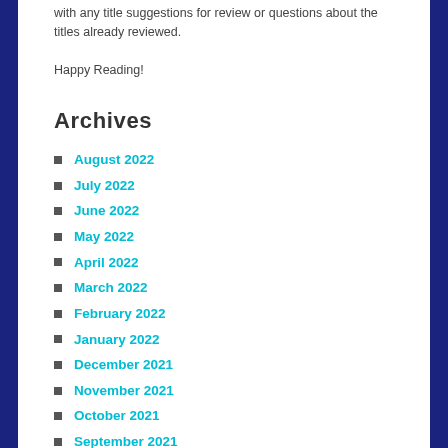with any title suggestions for review or questions about the titles already reviewed.
Happy Reading!
Archives
August 2022
July 2022
June 2022
May 2022
April 2022
March 2022
February 2022
January 2022
December 2021
November 2021
October 2021
September 2021
August 2021
July 2021
June 2021